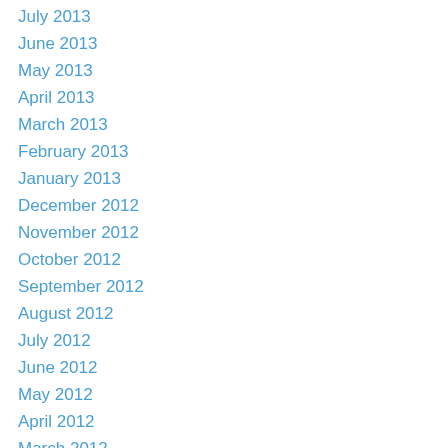July 2013
June 2013
May 2013
April 2013
March 2013
February 2013
January 2013
December 2012
November 2012
October 2012
September 2012
August 2012
July 2012
June 2012
May 2012
April 2012
March 2012
February 2012
September 2011
June 2011